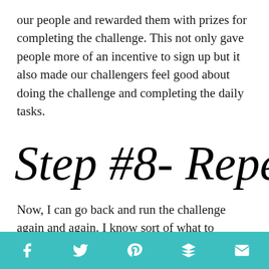our people and rewarded them with prizes for completing the challenge. This not only gave people more of an incentive to sign up but it also made our challengers feel good about doing the challenge and completing the daily tasks.
Step #8- Repeat!
Now, I can go back and run the challenge again and again. I know sort of what to expect, and next time, there will be even
Social share bar with Facebook, Twitter, Pinterest, Buffer, and Email icons